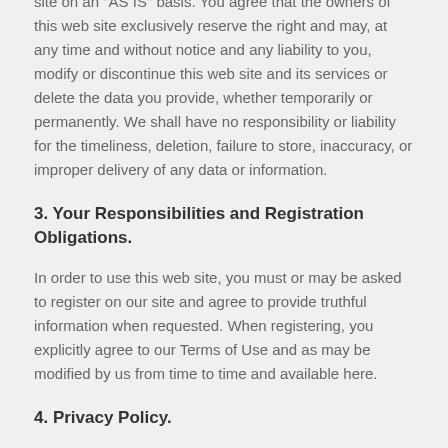site on an "AS IS" basis. You agree that the owners of this web site exclusively reserve the right and may, at any time and without notice and any liability to you, modify or discontinue this web site and its services or delete the data you provide, whether temporarily or permanently. We shall have no responsibility or liability for the timeliness, deletion, failure to store, inaccuracy, or improper delivery of any data or information.
3. Your Responsibilities and Registration Obligations.
In order to use this web site, you must or may be asked to register on our site and agree to provide truthful information when requested. When registering, you explicitly agree to our Terms of Use and as may be modified by us from time to time and available here.
4. Privacy Policy.
Registration data and other personally identifiable information that we may collect is subject to the terms of our Privacy Policy.